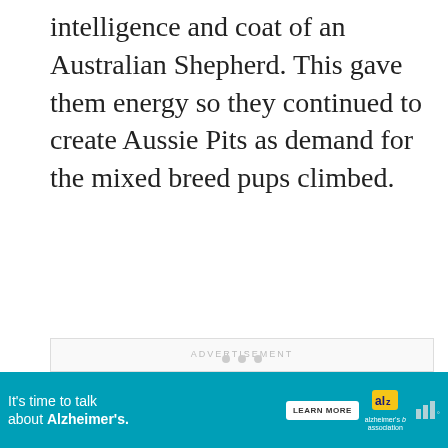intelligence and coat of an Australian Shepherd. This gave them energy so they continued to create Aussie Pits as demand for the mixed breed pups climbed.
[Figure (screenshot): Advertisement placeholder area with label 'ADVERTISEMENT', social interaction buttons (like heart icon, count '1', share icon), a 'WHAT'S NEXT → Australian Shepherd...' card, navigation dots, and a bottom banner ad for Alzheimer's awareness.]